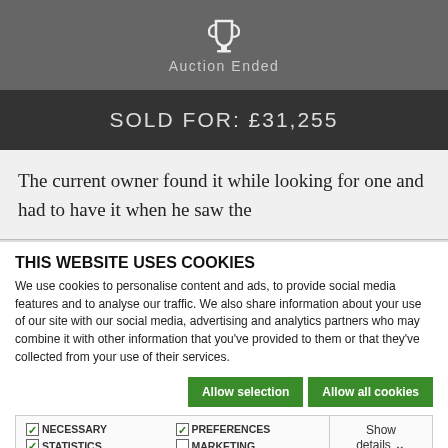[Figure (logo): White trophy/cup icon on dark grey background with text 'Auction Ended']
SOLD FOR: £31,255
The current owner found it while looking for one and had to have it when he saw the
THIS WEBSITE USES COOKIES
We use cookies to personalise content and ads, to provide social media features and to analyse our traffic. We also share information about your use of our site with our social media, advertising and analytics partners who may combine it with other information that you've provided to them or that they've collected from your use of their services.
Allow selection
Allow all cookies
NECESSARY  PREFERENCES  STATISTICS  MARKETING  Show details